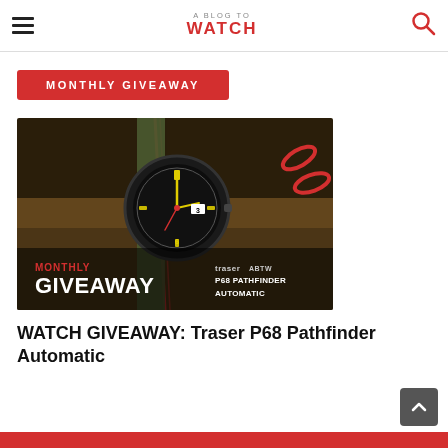A BLOG TO WATCH
MONTHLY GIVEAWAY
[Figure (photo): Promotional image for the Traser P68 Pathfinder Automatic watch giveaway. Shows the watch with a green NATO strap on a rustic background with red carabiners. Text overlay reads 'MONTHLY GIVEAWAY' in red and white, with 'traser ABTW P68 PATHFINDER AUTOMATIC' on the right.]
WATCH GIVEAWAY: Traser P68 Pathfinder Automatic